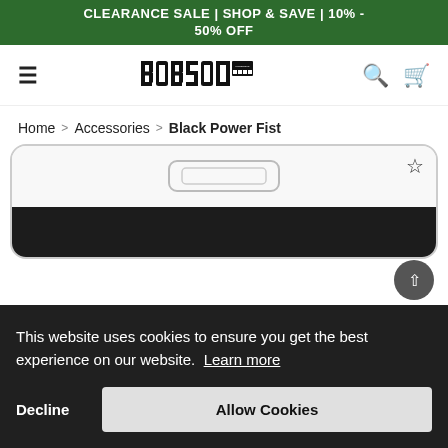CLEARANCE SALE | SHOP & SAVE | 10% - 50% OFF
[Figure (logo): Bobson Products logo - bold blocky text with grid pattern]
Home > Accessories > Black Power Fist
[Figure (screenshot): Product image showing a black accessory item in a rounded white card frame with a wishlist star icon]
This website uses cookies to ensure you get the best experience on our website. Learn more
Decline   Allow Cookies